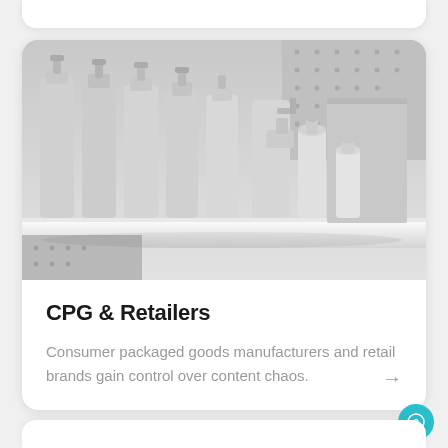[Figure (photo): Monochrome/grey-toned product bottles and containers arranged on a white shelf, resembling consumer packaged goods (CPG) products such as shampoo, cleaning spray, and various bottle shapes.]
CPG & Retailers
Consumer packaged goods manufacturers and retail brands gain control over content chaos.